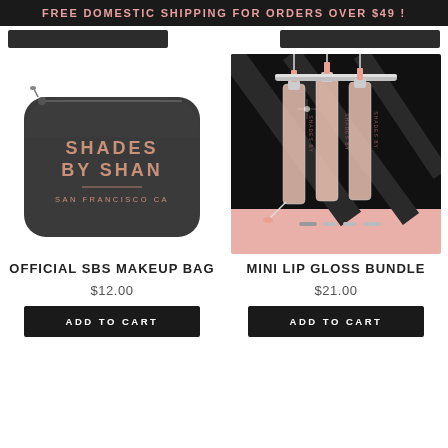FREE DOMESTIC SHIPPING FOR ORDERS OVER $49 !
[Figure (photo): Black makeup bag with 'SHADES BY SHAN SAN FRANCISCO CA' text in rose gold lettering]
[Figure (photo): Three mini lip gloss bottles from Shades By Shan displayed on a pink and black background]
OFFICIAL SBS MAKEUP BAG
MINI LIP GLOSS BUNDLE
$12.00
$21.00
ADD TO CART
ADD TO CART